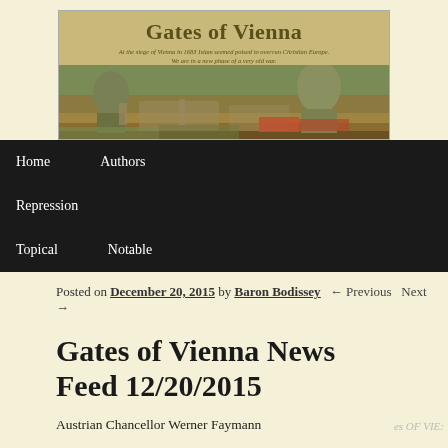[Figure (illustration): Gates of Vienna blog header banner with historic painting of Vienna cityscape, title 'Gates of Vienna' in bold serif text, and italic subtitle text]
Home  Authors  Repression  Topical  Notable
Posted on December 20, 2015 by Baron Bodissey  ← Previous  Next →
Gates of Vienna News Feed 12/20/2015
Austrian Chancellor Werner Faymann